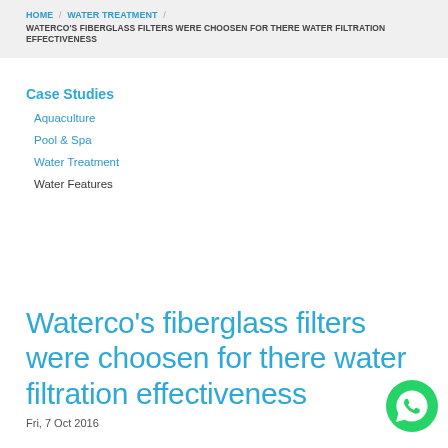HOME / WATER TREATMENT / WATERCO'S FIBERGLASS FILTERS WERE CHOOSEN FOR THERE WATER FILTRATION EFFECTIVENESS
Case Studies
Aquaculture
Pool & Spa
Water Treatment
Water Features
Waterco's fiberglass filters were choosen for there water filtration effectiveness
Fri, 7 Oct 2016